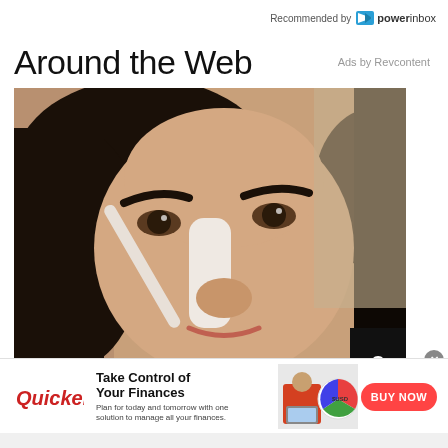Recommended by powerinbox
Around the Web
Ads by Revcontent
[Figure (photo): Close-up photo of a woman applying a white nose strip or cream to her nose with a brush or applicator. She has long dark hair and is looking slightly downward. A counter badge with '0' appears in the upper right of the image.]
[Figure (advertisement): Quicken financial software advertisement banner. Shows Quicken logo in red on left, headline 'Take Control of Your Finances' with subtext 'Plan for today and tomorrow with one solution to manage all your finances.', a photo of a woman in red shirt working on laptop with a budget pie chart, and a red 'BUY NOW' button on the right.]